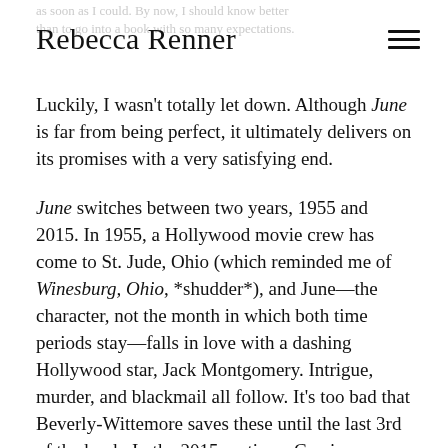Rebecca Renner
Luckily, I wasn't totally let down. Although June is far from being perfect, it ultimately delivers on its promises with a very satisfying end.
June switches between two years, 1955 and 2015. In 1955, a Hollywood movie crew has come to St. Jude, Ohio (which reminded me of Winesburg, Ohio, *shudder*), and June—the character, not the month in which both time periods stay—falls in love with a dashing Hollywood star, Jack Montgomery. Intrigue, murder, and blackmail all follow. It's too bad that Beverly-Wittemore saves these until the last 3rd of the book. In the 2015 sections, Cassie Danvers, who has been living in her grandmother June's decaying mansion since June's death, receives word that she will inherit